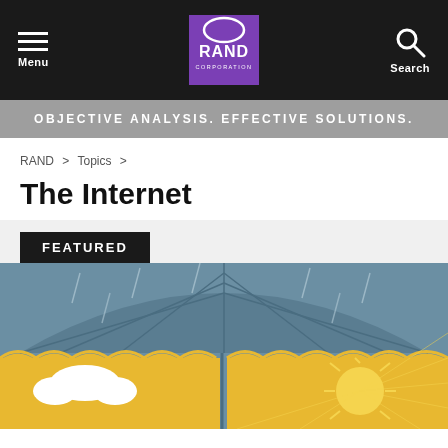Menu | RAND Corporation | Search
OBJECTIVE ANALYSIS. EFFECTIVE SOLUTIONS.
RAND > Topics >
The Internet
FEATURED
[Figure (illustration): Illustration showing an umbrella in rainy weather on left side and sunny weather with sun and clouds on right side, in blue, yellow and white colors]